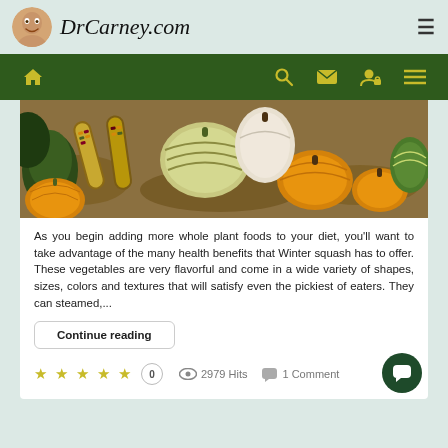DrCarney.com
[Figure (screenshot): Website navigation bar with home, search, mail, user, and menu icons on dark green background]
[Figure (photo): Assorted autumn/winter squash and ornamental corn arranged on fall leaves — orange pumpkins, striped gourds, Indian corn]
As you begin adding more whole plant foods to your diet, you'll want to take advantage of the many health benefits that Winter squash has to offer. These vegetables are very flavorful and come in a wide variety of shapes, sizes, colors and textures that will satisfy even the pickiest of eaters. They can steamed,...
Continue reading
0  2979 Hits  1 Comment